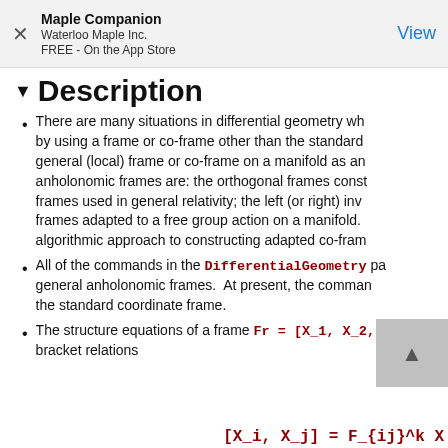Maple Companion
Waterloo Maple Inc.
FREE - On the App Store
▼ Description
There are many situations in differential geometry wh... by using a frame or co-frame other than the standard... general (local) frame or co-frame on a manifold as an... anholonomic frames are: the orthogonal frames constr... frames used in general relativity; the left (or right) inv... frames adapted to a free group action on a manifold. algorithmic approach to constructing adapted co-fram...
All of the commands in the DifferentialGeometry pa... general anholonomic frames.  At present, the comman... the standard coordinate frame.
The structure equations of a frame Fr = [X_1, X_2, ... bracket relations